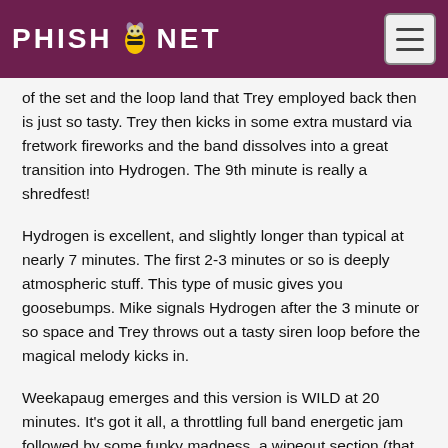PHISH.NET
of the set and the loop land that Trey employed back then is just so tasty. Trey then kicks in some extra mustard via fretwork fireworks and the band dissolves into a great transition into Hydrogen. The 9th minute is really a shredfest!
Hydrogen is excellent, and slightly longer than typical at nearly 7 minutes. The first 2-3 minutes or so is deeply atmospheric stuff. This type of music gives you goosebumps. Mike signals Hydrogen after the 3 minute or so space and Trey throws out a tasty siren loop before the magical melody kicks in.
Weekapaug emerges and this version is WILD at 20 minutes. It's got it all, a throttling full band energetic jam followed by some funky madness, a wipeout section (that is organic and fun, as opposed to gimmicky) and a reprise into the main Weekapaug theme followed by spacey ambience which yields to